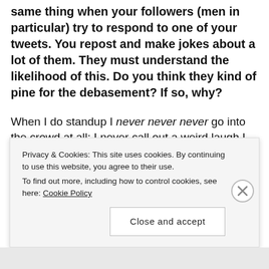same thing when your followers (men in particular) try to respond to one of your tweets. You repost and make jokes about a lot of them. They must understand the likelihood of this. Do you think they kind of pine for the debasement? If so, why?
When I do standup I never never never go into the crowd at all; I never call out a weird laugh I hear. I never call any audience member out. It makes my skin crawl when people do that because the aim seems to be humiliation, not participation. But as I said above, the goal of someone who responds to my tweets is
Privacy & Cookies: This site uses cookies. By continuing to use this website, you agree to their use.
To find out more, including how to control cookies, see here: Cookie Policy

Close and accept